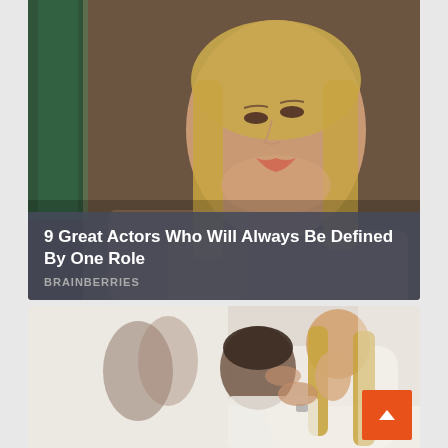[Figure (photo): Top card: A blonde woman sitting in a cafe-like setting, looking upward with a slightly pouty expression, wearing red lipstick. Dark background with a green pillar visible.]
9 Great Actors Who Will Always Be Defined By One Role
BRAINBERRIES
[Figure (photo): Bottom card: A couple kissing/embracing intimately in white clothing. In the background, another couple can be seen. An orange scroll-to-top button is visible in the bottom right.]